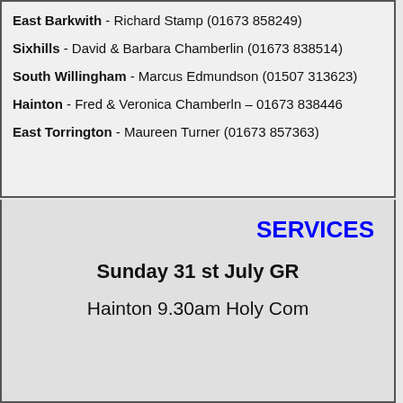East Barkwith - Richard Stamp (01673 858249)
Sixhills - David & Barbara Chamberlin (01673 838514)
South Willingham - Marcus Edmundson (01507 313623)
Hainton - Fred & Veronica Chamberln – 01673 838446
East Torrington - Maureen Turner (01673 857363)
SERVICES
Sunday 31 st July GR
Hainton 9.30am Holy Com